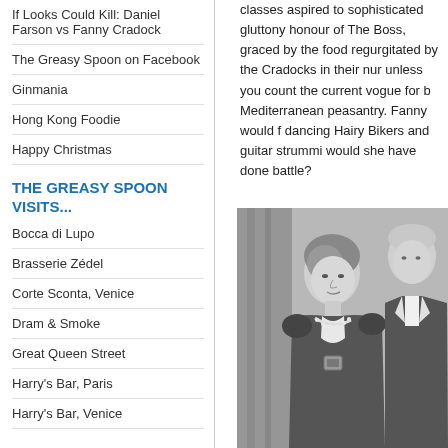If Looks Could Kill: Daniel Farson vs Fanny Cradock
The Greasy Spoon on Facebook
Ginmania
Hong Kong Foodie
Happy Christmas
THE GREASY SPOON VISITS...
Bocca di Lupo
Brasserie Zédel
Corte Sconta, Venice
Dram & Smoke
Great Queen Street
Harry's Bar, Paris
Harry's Bar, Venice
classes aspired to sophisticated gluttony, honour of The Boss, graced by the food regurgitated by the Cradocks in their num unless you count the current vogue for b Mediterranean peasantry. Fanny would f dancing Hairy Bikers and guitar strummi would she have done battle?
[Figure (photo): Black and white photograph of a woman and man, the woman wearing a dark dress with a pearl necklace and a buckle brooch, looking to the right, the man in a dark suit beside her.]